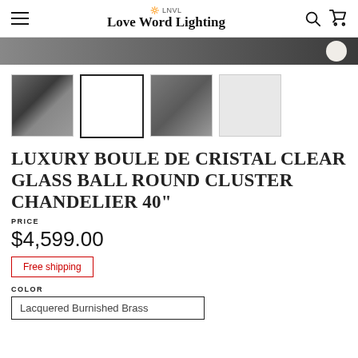Love Word Lighting
[Figure (photo): Hero banner dark gradient background with circular badge on right]
[Figure (photo): Four product thumbnail images of crystal chandelier]
LUXURY BOULE DE CRISTAL CLEAR GLASS BALL ROUND CLUSTER CHANDELIER 40"
PRICE
$4,599.00
Free shipping
COLOR
Lacquered Burnished Brass